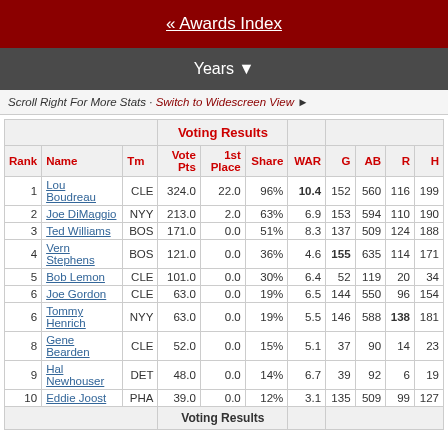« Awards Index
Years ▼
Scroll Right For More Stats · Switch to Widescreen View ►
| Rank | Name | Tm | Vote Pts | 1st Place | Share | WAR | G | AB | R | H |
| --- | --- | --- | --- | --- | --- | --- | --- | --- | --- | --- |
| 1 | Lou Boudreau | CLE | 324.0 | 22.0 | 96% | 10.4 | 152 | 560 | 116 | 199 |
| 2 | Joe DiMaggio | NYY | 213.0 | 2.0 | 63% | 6.9 | 153 | 594 | 110 | 190 |
| 3 | Ted Williams | BOS | 171.0 | 0.0 | 51% | 8.3 | 137 | 509 | 124 | 188 |
| 4 | Vern Stephens | BOS | 121.0 | 0.0 | 36% | 4.6 | 155 | 635 | 114 | 171 |
| 5 | Bob Lemon | CLE | 101.0 | 0.0 | 30% | 6.4 | 52 | 119 | 20 | 34 |
| 6 | Joe Gordon | CLE | 63.0 | 0.0 | 19% | 6.5 | 144 | 550 | 96 | 154 |
| 6 | Tommy Henrich | NYY | 63.0 | 0.0 | 19% | 5.5 | 146 | 588 | 138 | 181 |
| 8 | Gene Bearden | CLE | 52.0 | 0.0 | 15% | 5.1 | 37 | 90 | 14 | 23 |
| 9 | Hal Newhouser | DET | 48.0 | 0.0 | 14% | 6.7 | 39 | 92 | 6 | 19 |
| 10 | Eddie Joost | PHA | 39.0 | 0.0 | 12% | 3.1 | 135 | 509 | 99 | 127 |